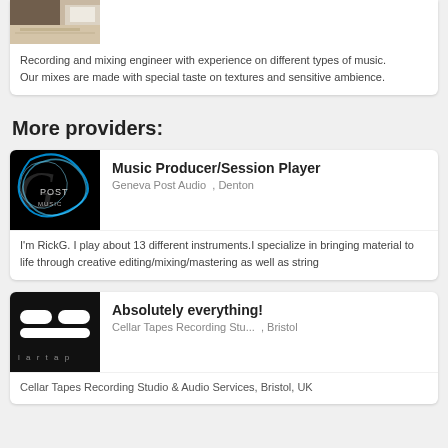[Figure (photo): Partial image of a room with wooden floor, shown as cropped thumbnail at top of card]
Recording and mixing engineer with experience on different types of music. Our mixes are made with special taste on textures and sensitive ambience.
More providers:
[Figure (logo): Geneva Post Audio logo - dark background with glowing blue cursive G and text 'POST MUSIC']
Music Producer/Session Player
Geneva Post Audio , Denton
I'm RickG. I play about 13 different instruments.I specialize in bringing material to life through creative editing/mixing/mastering as well as string
[Figure (logo): Black background logo with white rounded rectangle shapes forming a symbol, text 'lartap' at bottom]
Absolutely everything!
Cellar Tapes Recording Stu... , Bristol
Cellar Tapes Recording Studio & Audio Services, Bristol, UK